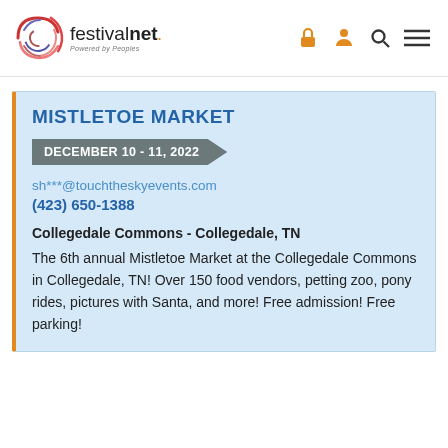festivalnet. Powered by Peoples
MISTLETOE MARKET
DECEMBER 10 - 11, 2022
sh***@touchtheskyevents.com
(423) 650-1388
Collegedale Commons - Collegedale, TN
The 6th annual Mistletoe Market at the Collegedale Commons in Collegedale, TN! Over 150 food vendors, petting zoo, pony rides, pictures with Santa, and more! Free admission! Free parking!